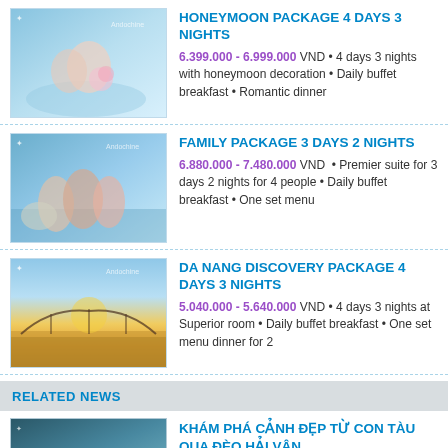[Figure (photo): Honeymoon couple silhouette with flowers by water]
HONEYMOON PACKAGE 4 DAYS 3 NIGHTS
6.399.000 - 6.999.000 VND • 4 days 3 nights with honeymoon decoration • Daily buffet breakfast • Romantic dinner
[Figure (photo): Family at beach resort with elephant]
FAMILY PACKAGE 3 DAYS 2 NIGHTS
6.880.000 - 7.480.000 VND • Premier suite for 3 days 2 nights for 4 people • Daily buffet breakfast • One set menu
[Figure (photo): Da Nang bridge at sunset with golden sky]
DA NANG DISCOVERY PACKAGE 4 DAYS 3 NIGHTS
5.040.000 - 5.640.000 VND • 4 days 3 nights at Superior room • Daily buffet breakfast • One set menu dinner for 2
RELATED NEWS
[Figure (photo): Rocky coastline with turquoise sea]
KHÁM PHÁ CẢNH ĐẸP TỪ CON TÀU QUA ĐÈO HẢI VÂN